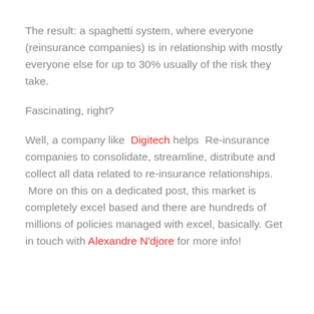The result: a spaghetti system, where everyone (reinsurance companies) is in relationship with mostly everyone else for up to 30% usually of the risk they take.
Fascinating, right?
Well, a company like Digitech helps Re-insurance companies to consolidate, streamline, distribute and collect all data related to re-insurance relationships. More on this on a dedicated post, this market is completely excel based and there are hundreds of millions of policies managed with excel, basically. Get in touch with Alexandre N'djore for more info!